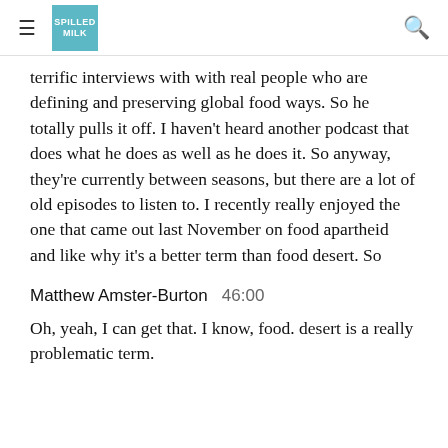≡ SPILLED MILK [logo] 🔍
terrific interviews with with real people who are defining and preserving global food ways. So he totally pulls it off. I haven't heard another podcast that does what he does as well as he does it. So anyway, they're currently between seasons, but there are a lot of old episodes to listen to. I recently really enjoyed the one that came out last November on food apartheid and like why it's a better term than food desert. So
Matthew Amster-Burton  46:00
Oh, yeah, I can get that. I know, food. desert is a really problematic term.